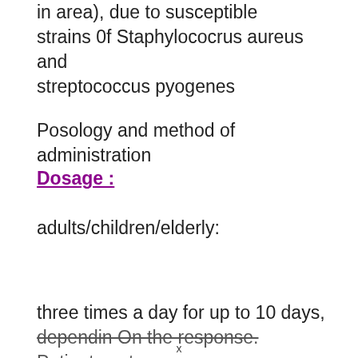in area), due to susceptible strains 0f Staphylococrus aureus and streptococcus pyogenes
Posology and method of administration
Dosage :
adults/children/elderly:
three times a day for up to 10 days, dependin On the response. Patients not
x